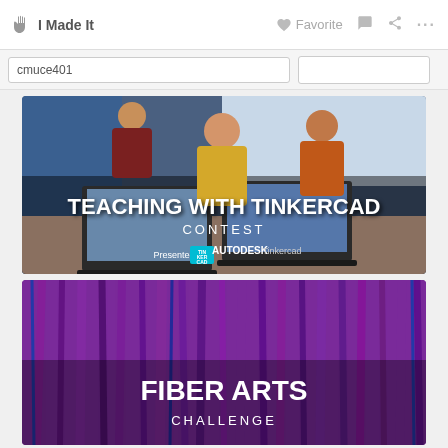I Made It   Favorite
cmuce401
[Figure (photo): Teaching With Tinkercad Contest banner — children working on laptops with text overlay: TEACHING WITH TINKERCAD CONTEST, Presented by Autodesk Tinkercad logo]
[Figure (photo): Fiber Arts Challenge banner — purple fiber/knit texture background with text overlay: FIBER ARTS CHALLENGE]